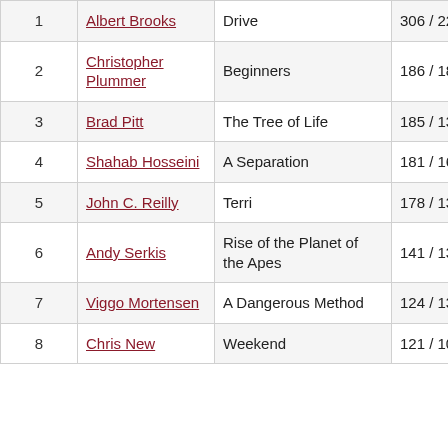| 1 | Albert Brooks | Drive | 306 / 22 |
| 2 | Christopher Plummer | Beginners | 186 / 18 |
| 3 | Brad Pitt | The Tree of Life | 185 / 13 |
| 4 | Shahab Hosseini | A Separation | 181 / 16 |
| 5 | John C. Reilly | Terri | 178 / 13 |
| 6 | Andy Serkis | Rise of the Planet of the Apes | 141 / 13 |
| 7 | Viggo Mortensen | A Dangerous Method | 124 / 13 |
| 8 | Chris New | Weekend | 121 / 10 |